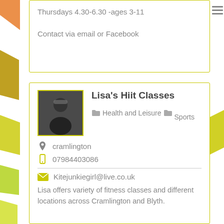Thursdays 4.30-6.30 -ages 3-11

Contact via email or Facebook
Lisa's Hiit Classes
Health and Leisure  Sports
cramlington
07984403086
Kitejunkiegirl@live.co.uk
Lisa offers variety of fitness classes and different locations across Cramlington and Blyth.